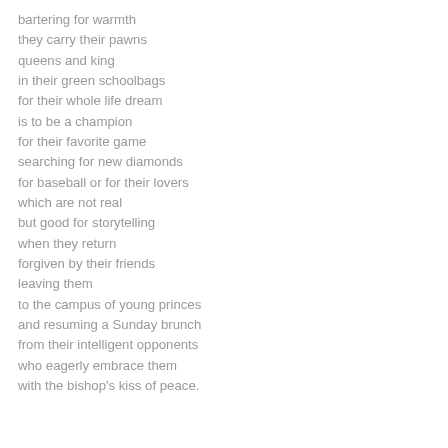bartering for warmth
they carry their pawns
queens and king
in their green schoolbags
for their whole life dream
is to be a champion
for their favorite game
searching for new diamonds
for baseball or for their lovers
which are not real
but good for storytelling
when they return
forgiven by their friends
leaving them
to the campus of young princes
and resuming a Sunday brunch
from their intelligent opponents
who eagerly embrace them
with the bishop's kiss of peace.